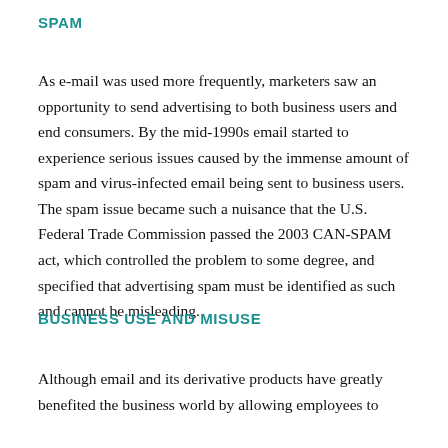SPAM
As e-mail was used more frequently, marketers saw an opportunity to send advertising to both business users and end consumers. By the mid-1990s email started to experience serious issues caused by the immense amount of spam and virus-infected email being sent to business users. The spam issue became such a nuisance that the U.S. Federal Trade Commission passed the 2003 CAN-SPAM act, which controlled the problem to some degree, and specified that advertising spam must be identified as such and cannot be misleading.
BUSINESS USE AND MISUSE
Although email and its derivative products have greatly benefited the business world by allowing employees to